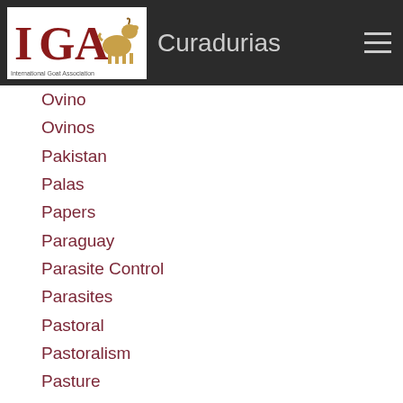Curadurias
Ovino
Ovinos
Pakistan
Palas
Papers
Paraguay
Parasite Control
Parasites
Pastoral
Pastoralism
Pasture
Patricio Dayenoff
Paula Menzies
Pdf
Perinatal Mortality
Peru
Peste Des Petits Ruminants